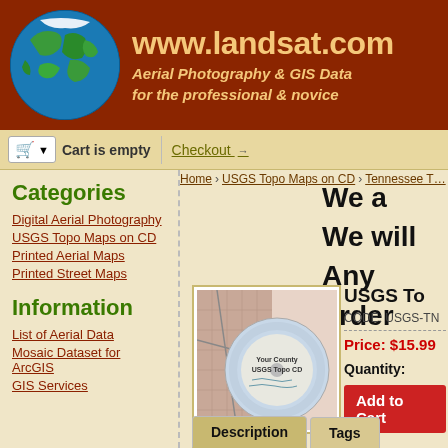[Figure (screenshot): Website header for www.landsat.com with globe image and dark red/brown background, tagline 'Aerial Photography & GIS Data for the professional & novice']
Cart is empty
Checkout →
Home > USGS Topo Maps on CD > Tennessee T…
Categories
Digital Aerial Photography
USGS Topo Maps on CD
Printed Aerial Maps
Printed Street Maps
Information
List of Aerial Data
Mosaic Dataset for ArcGIS
GIS Services
We a
We will
Any order
[Figure (photo): USGS Topo CD product image showing a disc with a county map overlay labeled 'Your County USGS Topo CD']
USGS To
CODE: USGS-TN
Price: $15.99
Quantity:
Add to Cart
Description
Tags